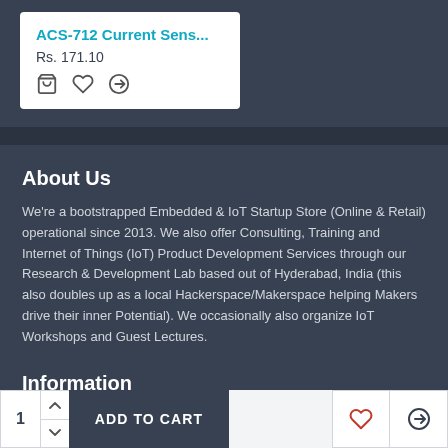ACS-712 Current Sens...
Rs. 171.10
About Us
We're a bootstrapped Embedded & IoT Startup Store (Online & Retail) operational since 2013. We also offer Consulting, Training and Internet of Things (IoT) Product Development Services through our Research & Development Lab based out of Hyderabad, India (this also doubles up as a local Hackerspace/Makerspace helping Makers drive their inner Potential). We occasionally also organize IoT Workshops and Guest Lectures.
Information
About Us
Delivery Information